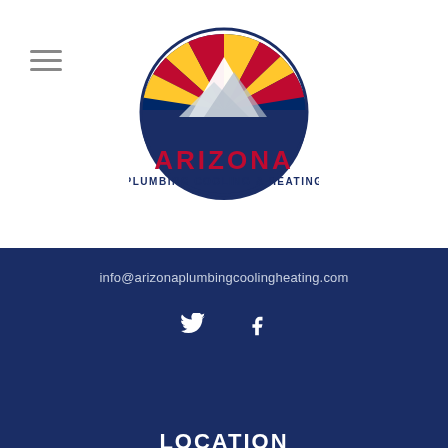[Figure (logo): Arizona Plumbing Cooling & Heating logo with mountain and Arizona flag sunburst imagery]
info@arizonaplumbingcoolingheating.com
[Figure (other): Twitter and Facebook social media icons]
LOCATION